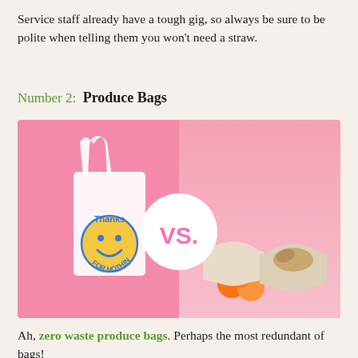Service staff already have a tough gig, so always be sure to be polite when telling them you won't need a straw.
Number 2:  Produce Bags
[Figure (photo): Side-by-side comparison photo: left half shows a white plastic thank-you bag with blue 'Thanks FOR NOTHING' text and yellow smiley face on a pink background; right half shows reusable fabric produce bags holding oranges and ginger root on a pink background; a white circle in the center reads 'VS.' in pink text.]
Ah, zero waste produce bags. Perhaps the most redundant of bags!